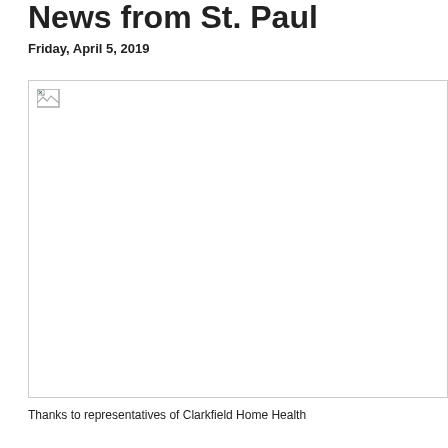News from St. Paul
Friday, April 5, 2019
[Figure (photo): Broken/missing image placeholder — large white rectangle with broken image icon in upper-left corner and a border]
Thanks to representatives of Clarkfield Home Health